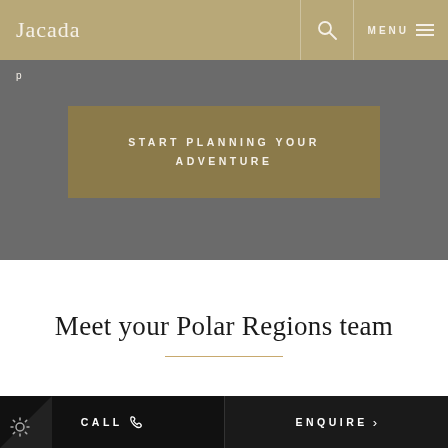Jacada
START PLANNING YOUR ADVENTURE
Meet your Polar Regions team
[Figure (photo): Team photo placeholder — light gray background]
CALL  ENQUIRE